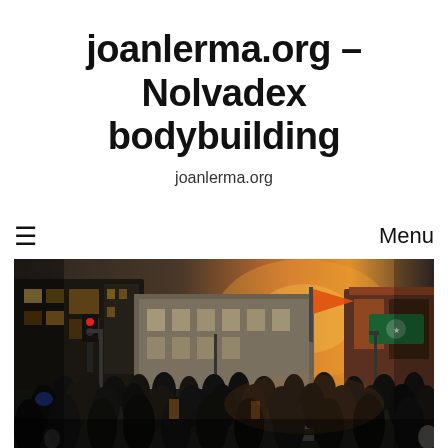joanlerma.org – Nolvadex bodybuilding
joanlerma.org
≡   Menu
[Figure (photo): Street scene with a large crowd of people crossing a busy city street, with buildings, traffic lights, street lamps, and an orange flag visible. Warm golden hour lighting in the background.]